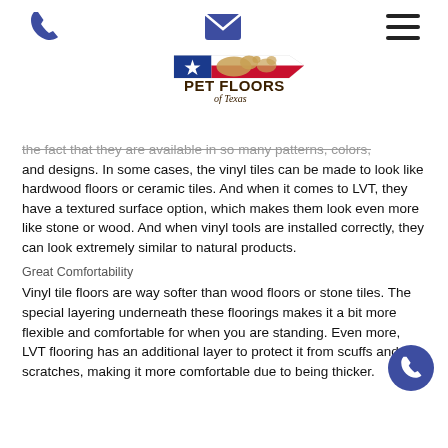[phone icon] [mail icon] [menu icon]
[Figure (logo): Pet Floors of Texas logo with Texas flag and dog/cat silhouette]
the fact that they are available in so many patterns, colors, and designs. In some cases, the vinyl tiles can be made to look like hardwood floors or ceramic tiles. And when it comes to LVT, they have a textured surface option, which makes them look even more like stone or wood. And when vinyl tools are installed correctly, they can look extremely similar to natural products.
Great Comfortability
Vinyl tile floors are way softer than wood floors or stone tiles. The special layering underneath these floorings makes it a bit more flexible and comfortable for when you are standing. Even more, LVT flooring has an additional layer to protect it from scuffs and scratches, making it more comfortable due to being thicker.